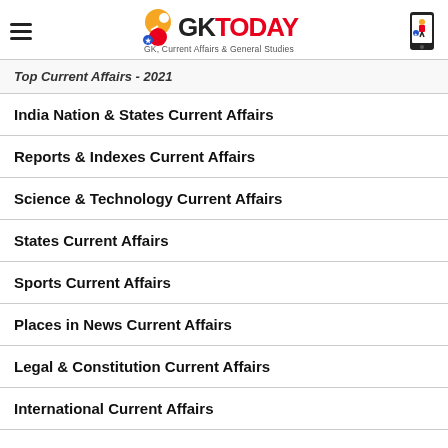GK TODAY — GK, Current Affairs & General Studies
Top Current Affairs - 2021
India Nation & States Current Affairs
Reports & Indexes Current Affairs
Science & Technology Current Affairs
States Current Affairs
Sports Current Affairs
Places in News Current Affairs
Legal & Constitution Current Affairs
International Current Affairs